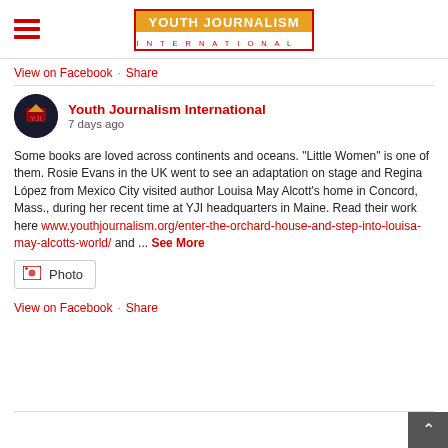Youth Journalism International
View on Facebook · Share
Youth Journalism International
7 days ago
Some books are loved across continents and oceans. "Little Women" is one of them. Rosie Evans in the UK went to see an adaptation on stage and Regina López from Mexico City visited author Louisa May Alcott's home in Concord, Mass., during her recent time at YJI headquarters in Maine. Read their work here www.youthjournalism.org/enter-the-orchard-house-and-step-into-louisa-may-alcotts-world/ and ... See More
Photo
View on Facebook · Share